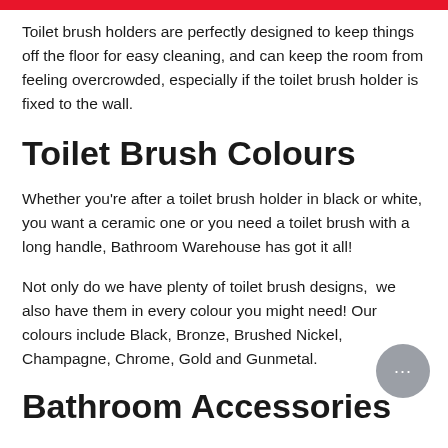Toilet brush holders are perfectly designed to keep things off the floor for easy cleaning, and can keep the room from feeling overcrowded, especially if the toilet brush holder is fixed to the wall.
Toilet Brush Colours
Whether you're after a toilet brush holder in black or white, you want a ceramic one or you need a toilet brush with a long handle, Bathroom Warehouse has got it all!
Not only do we have plenty of toilet brush designs,  we also have them in every colour you might need! Our colours include Black, Bronze, Brushed Nickel, Champagne, Chrome, Gold and Gunmetal.
Bathroom Accessories